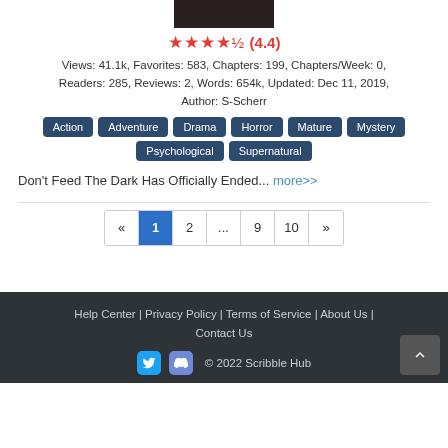[Figure (photo): Book/story cover image, dark background, top portion visible]
★★★★½ (4.4)
Views: 41.1k, Favorites: 583, Chapters: 199, Chapters/Week: 0, Readers: 285, Reviews: 2, Words: 654k, Updated: Dec 11, 2019, Author: S-Scherr
Action
Adventure
Drama
Horror
Mature
Mystery
Psychological
Supernatural
Don't Feed The Dark Has Officially Ended... more>>
« 1 2 ... 9 10 »
Help Center | Privacy Policy | Terms of Service | About Us | Contact Us
© 2022 Scribble Hub